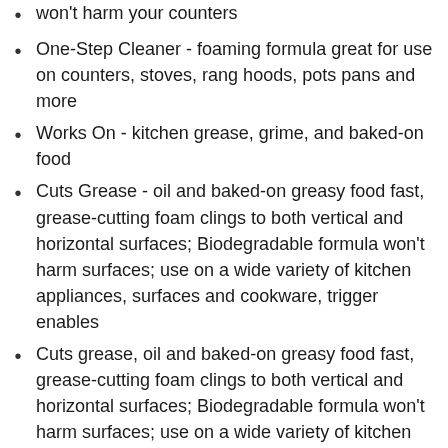won't harm your counters
One-Step Cleaner - foaming formula great for use on counters, stoves, rang hoods, pots pans and more
Works On - kitchen grease, grime, and baked-on food
Cuts Grease - oil and baked-on greasy food fast, grease-cutting foam clings to both vertical and horizontal surfaces; Biodegradable formula won't harm surfaces; use on a wide variety of kitchen appliances, surfaces and cookware, trigger enables
Cuts grease, oil and baked-on greasy food fast, grease-cutting foam clings to both vertical and horizontal surfaces; Biodegradable formula won't harm surfaces; use on a wide variety of kitchen appliances, surfaces and cookware, trigger enables